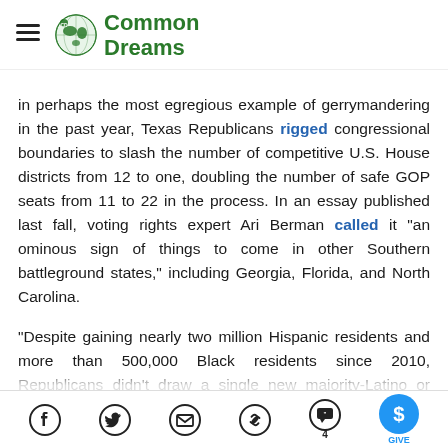Common Dreams
in perhaps the most egregious example of gerrymandering in the past year, Texas Republicans rigged congressional boundaries to slash the number of competitive U.S. House districts from 12 to one, doubling the number of safe GOP seats from 11 to 22 in the process. In an essay published last fall, voting rights expert Ari Berman called it "an ominous sign of things to come in other Southern battleground states," including Georgia, Florida, and North Carolina.
"Despite gaining nearly two million Hispanic residents and more than 500,000 Black residents since 2010, Republicans didn't draw a single new majority-Latino or majority-Black congressional district." Berman wrote of
Facebook | Twitter | Email | Link | Comments 4 | GIVE